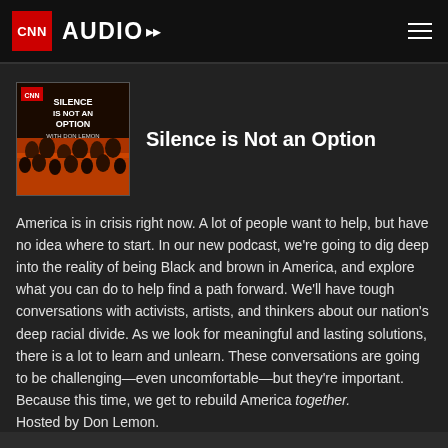CNN AUDIO
[Figure (illustration): Album art for 'Silence is Not an Option with Don Lemon' podcast — dark background with orange/red crowd imagery and bold white text]
Silence is Not an Option
America is in crisis right now. A lot of people want to help, but have no idea where to start. In our new podcast, we're going to dig deep into the reality of being Black and brown in America, and explore what you can do to help find a path forward. We'll have tough conversations with activists, artists, and thinkers about our nation's deep racial divide. As we look for meaningful and lasting solutions, there is a lot to learn and unlearn. These conversations are going to be challenging—even uncomfortable—but they're important. Because this time, we get to rebuild America together. Hosted by Don Lemon.